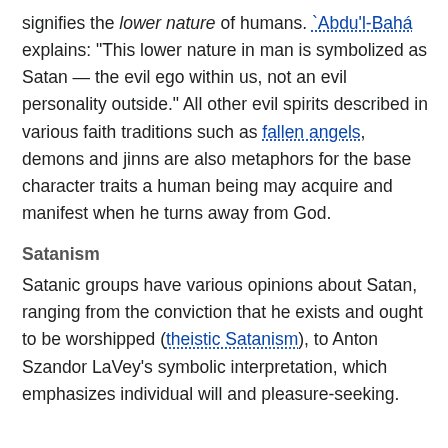signifies the lower nature of humans. `Abdu'l-Bahá explains: "This lower nature in man is symbolized as Satan — the evil ego within us, not an evil personality outside." All other evil spirits described in various faith traditions such as fallen angels, demons and jinns are also metaphors for the base character traits a human being may acquire and manifest when he turns away from God.
Satanism
Satanic groups have various opinions about Satan, ranging from the conviction that he exists and ought to be worshipped (theistic Satanism), to Anton Szandor LaVey's symbolic interpretation, which emphasizes individual will and pleasure-seeking.